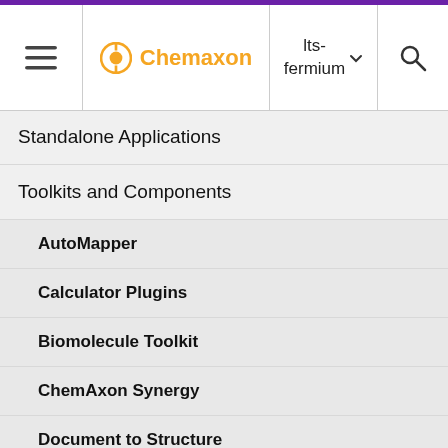Chemaxon | lts-fermium
Standalone Applications
Toolkits and Components
AutoMapper
Calculator Plugins
Biomolecule Toolkit
ChemAxon Synergy
Document to Structure
JChem Base
JChem Choral
as follow
[Figure (other): Chemaxon Calculator Plugins card preview thumbnail with dark navy background and orange top border]
Calculator Plugins license may be required depending on the